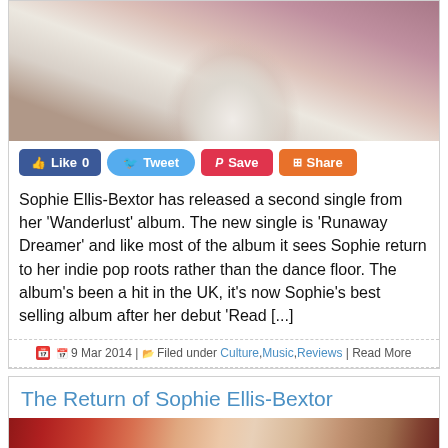[Figure (photo): Photo of Sophie Ellis-Bextor in white outfit at top of first article card]
Like 0  Tweet  Save  Share
Sophie Ellis-Bextor has released a second single from her 'Wanderlust' album. The new single is 'Runaway Dreamer' and like most of the album it sees Sophie return to her indie pop roots rather than the dance floor. The album's been a hit in the UK, it's now Sophie's best selling album after her debut 'Read [...]
9 Mar 2014 | Filed under Culture,Music,Reviews | Read More
The Return of Sophie Ellis-Bextor
[Figure (photo): Photo of Sophie Ellis-Bextor with dark hair at bottom second article card]